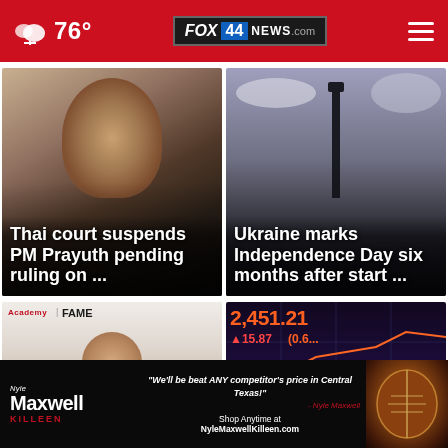76° FOX 44 NEWS.com
[Figure (photo): Thai Prime Minister Prayuth in dark suit, close-up portrait]
Thai court suspends PM Prayuth pending ruling on ...
[Figure (photo): Monument column against cloudy sky in Ukraine]
Ukraine marks Independence Day six months after start ...
[Figure (photo): Man at Academy FAME event]
[Figure (photo): Stock market ticker showing 2,451.21, +15.87 (0.6...)]
[Figure (advertisement): Nyle Maxwell Killeen ad: We'll be beat ANY competitor's price in Central Texas! Shop Anytime at NyleMaxwellKilleen.com]